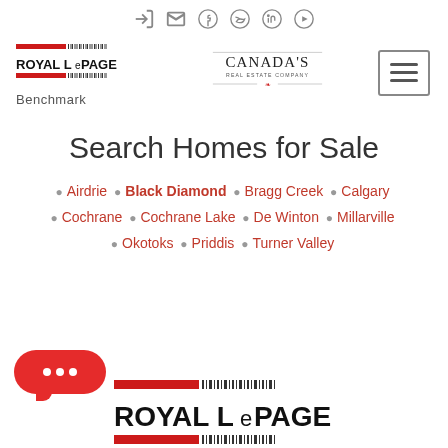[Figure (logo): Royal LePage Benchmark and Canada's Real Estate Company logos with navigation icons]
Search Homes for Sale
Airdrie  Black Diamond  Bragg Creek  Calgary  Cochrane  Cochrane Lake  De Winton  Millarville  Okotoks  Priddis  Turner Valley
[Figure (logo): Royal LePage logo at bottom of page]
[Figure (other): Red chat button with speech bubble dots]